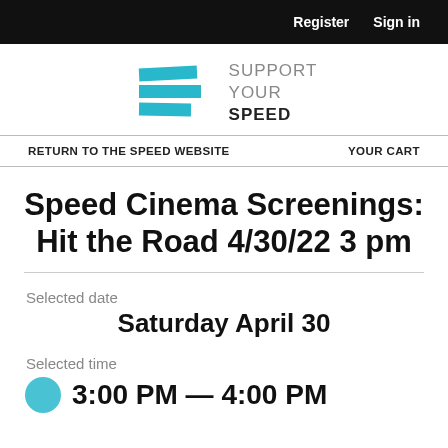Register  Sign in
[Figure (logo): Support Your Speed logo with teal stacked bars and text reading SUPPORT YOUR SPEED]
RETURN TO THE SPEED WEBSITE   YOUR CART
Speed Cinema Screenings: Hit the Road 4/30/22 3 pm
Selected date
Saturday April 30
Selected time
3:00 PM — 4:00 PM